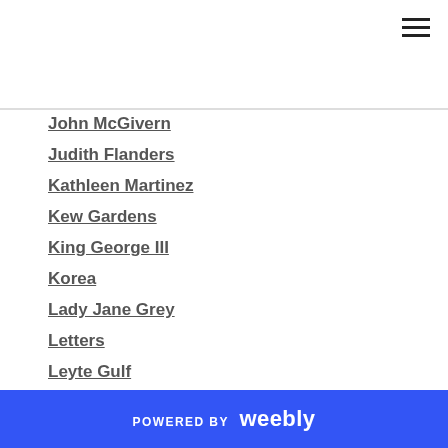John McGivern
Judith Flanders
Kathleen Martinez
Kew Gardens
King George III
Korea
Lady Jane Grey
Letters
Leyte Gulf
Lincoln Highway
Lithuania
Lost Kingdoms
Lost Legions
Lucy Worsley
Lusitania
POWERED BY weebly